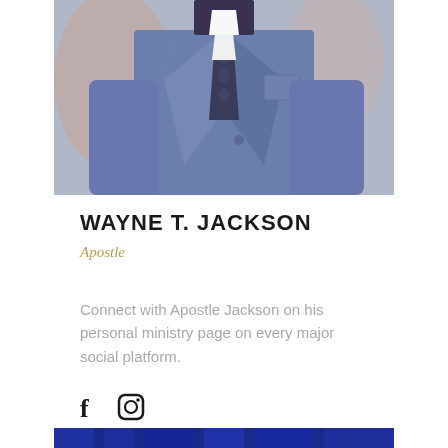[Figure (photo): Photo of Wayne T. Jackson wearing a blue suit and patterned tie, cropped to show torso and lower face area]
WAYNE T. JACKSON
Apostle
Connect with Apostle Jackson on his personal ministry page on every major social platform.
[Figure (other): Social media icons: Facebook (f) and Instagram (camera) icons]
[Figure (photo): Bottom partial photo showing blue curtain or fabric background]